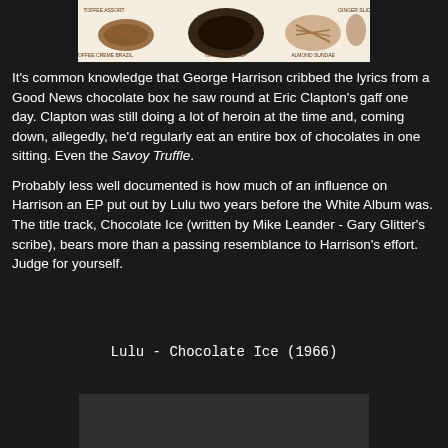[Figure (illustration): Illustration of chocolates from a Good News chocolate box, showing various chocolate types with labels including toffee, nougatine cup, almond sundae, ginger slice]
It's common knowledge that George Harrison cribbed the lyrics from a Good News chocolate box he saw round at Eric Clapton's gaff one day. Clapton was still doing a lot of heroin at the time and, coming down, allegedly, he'd regularly eat an entire box of chocolates in one sitting. Even the Savoy Truffle.
Probably less well documented is how much of an influence on Harrison an EP put out by Lulu two years before the White Album was. The title track, Chocolate Ice (written by Mike Leander - Gary Glitter's scribe), bears more than a passing resemblance to Harrison's effort. Judge for yourself.
Lulu - Chocolate Ice (1966)
[Figure (screenshot): Dark video player or image thumbnail at the bottom of the page]